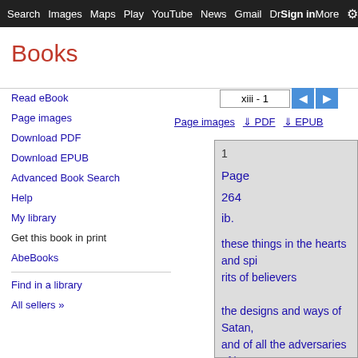Search  Images  Maps  Play  YouTube  News  Gmail  Drive  More  Sign in
Books
Read eBook
Page images
Download PDF
Download EPUB
Advanced Book Search
Help
My library
Get this book in print
AbeBooks
Find in a library
All sellers »
xiii - 1
Page images  ⬇ PDF  ⬇ EPUB
[Figure (screenshot): A Google Books page panel showing partial book text in blue on grey background. Visible text includes: '1', 'Page', '264', 'ib.', 'these things in the hearts and spi', 'rits of believers', 'the designs and ways of Satan,', 'and of all the adversaries of be-', 'lievers: and that they can do no', 'more, nor proceed further agains']